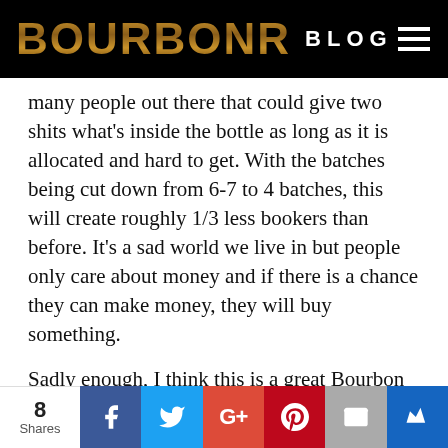BOURBONR BLOG
many people out there that could give two shits what's inside the bottle as long as it is allocated and hard to get. With the batches being cut down from 6-7 to 4 batches, this will create roughly 1/3 less bookers than before. It's a sad world we live in but people only care about money and if there is a chance they can make money, they will buy something.
Sadly enough, I think this is a great Bourbon and have bought every bottle left in this city. I found a chain of liquor stores that had cases of Bookers 2014-06 left and got them to give me a deal for
8 Shares